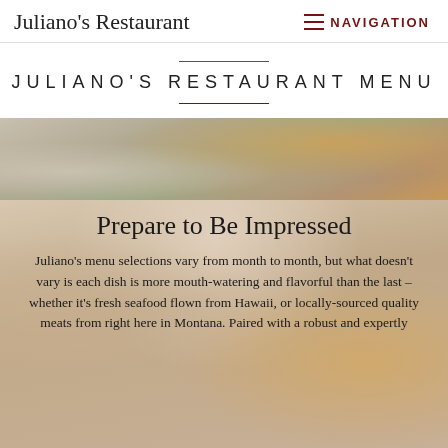Juliano's Restaurant   NAVIGATION
JULIANO'S RESTAURANT MENU
[Figure (photo): Blurred food photograph showing colorful dishes, used as a hero banner image]
Prepare to Be Impressed
Juliano's menu selections vary from month to month, but what doesn't vary is each dish is more mouth-watering and flavorful than the last – whether it's fresh seafood flown from Hawaii, or locally-sourced quality meats from right here in Montana. Paired with a robust and expertly